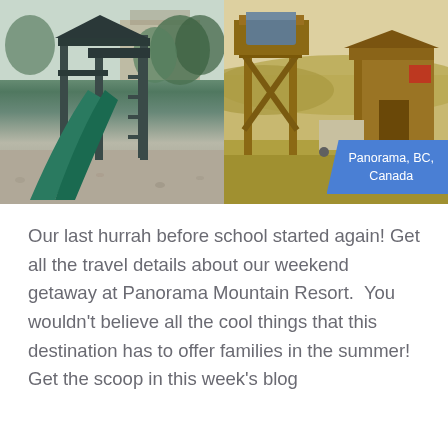[Figure (photo): Two side-by-side photos: left shows a green playground slide structure with trees in background; right shows wooden tower/water tower structures at Panorama, BC, Canada resort with a location badge overlay]
Our last hurrah before school started again! Get all the travel details about our weekend getaway at Panorama Mountain Resort.  You wouldn't believe all the cool things that this destination has to offer families in the summer!  Get the scoop in this week's blog